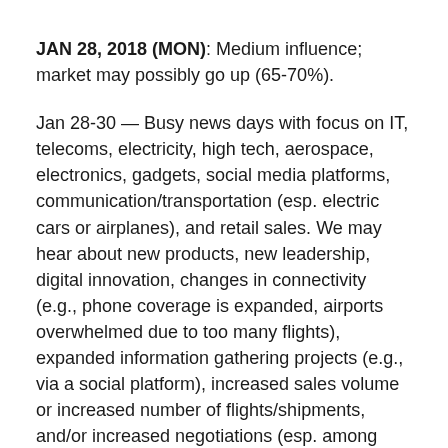JAN 28, 2018 (MON): Medium influence; market may possibly go up (65-70%).
Jan 28-30 — Busy news days with focus on IT, telecoms, electricity, high tech, aerospace, electronics, gadgets, social media platforms, communication/transportation (esp. electric cars or airplanes), and retail sales. We may hear about new products, new leadership, digital innovation, changes in connectivity (e.g., phone coverage is expanded, airports overwhelmed due to too many flights), expanded information gathering projects (e.g., via a social platform), increased sales volume or increased number of flights/shipments, and/or increased negotiations (esp. among companies related to the areas above).
USA: Jan 28-29 — Increased probability of positive news